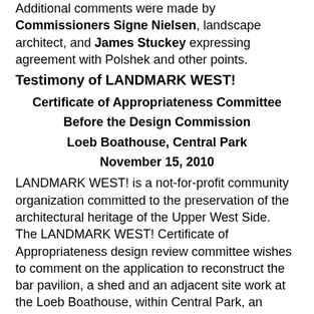Additional comments were made by Commissioners Signe Nielsen, landscape architect, and James Stuckey expressing agreement with Polshek and other points.
Testimony of LANDMARK WEST!
Certificate of Appropriateness Committee
Before the Design Commission
Loeb Boathouse, Central Park
November 15, 2010
LANDMARK WEST! is a not-for-profit community organization committed to the preservation of the architectural heritage of the Upper West Side. The LANDMARK WEST! Certificate of Appropriateness design review committee wishes to comment on the application to reconstruct the bar pavilion, a shed and an adjacent site work at the Loeb Boathouse, within Central Park, an English Romantic style public park designed by Olmsted and Vaux in 1856, and designated a Scenic...